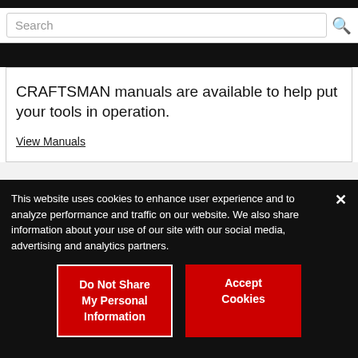Search
CRAFTSMAN manuals are available to help put your tools in operation.
View Manuals
This website uses cookies to enhance user experience and to analyze performance and traffic on our website. We also share information about your use of our site with our social media, advertising and analytics partners.
Do Not Share My Personal Information
Accept Cookies